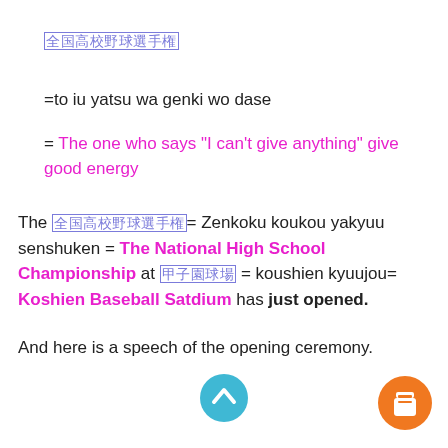[Japanese characters in box]
=to iu yatsu wa genki wo dase
= The one who says “I can’t give anything” give good energy
The [Japanese]= Zenkoku koukou yakyuu senshuken = The National High School Championship at [Japanese] = koushien kyuujou= Koshien Baseball Satdium has just opened.
And here is a speech of the opening ceremony.
[Figure (illustration): Teal circle with upward chevron arrow icon]
[Figure (illustration): Orange circle with coffee cup icon]